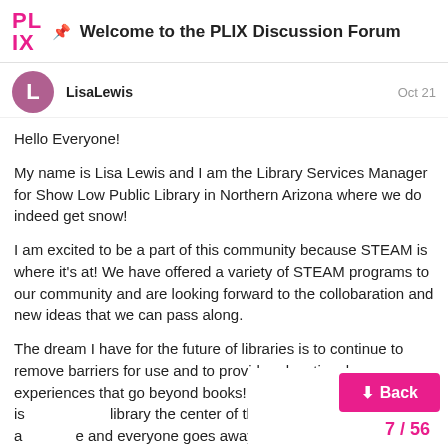📌 Welcome to the PLIX Discussion Forum
LisaLewis  Oct 21
Hello Everyone!
My name is Lisa Lewis and I am the Library Services Manager for Show Low Public Library in Northern Arizona where we do indeed get snow!
I am excited to be a part of this community because STEAM is where it's at! We have offered a variety of STEAM programs to our community and are looking forward to the collobaration and new ideas that we can pass along.
The dream I have for the future of libraries is to continue to remove barriers for use and to provide educational experiences that go beyond books! Our goal is to make the library the center of the community where all are welcome and everyone goes away learning something new.
One thing we recently added to our librar